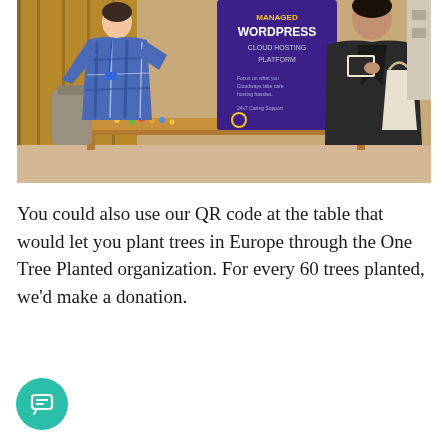[Figure (photo): Conference booth photo showing two people at a table with a purple banner reading 'MANAGED WORDPRESS CLOUD HOSTING PLATFORM'. A person in a blue plaid shirt stands behind the table, and another person in a dark jacket faces them. The table has blue notebooks/books and colorful candy scattered on it.]
You could also use our QR code at the table that would let you plant trees in Europe through the One Tree Planted organization. For every 60 trees planted, we'd make a donation.